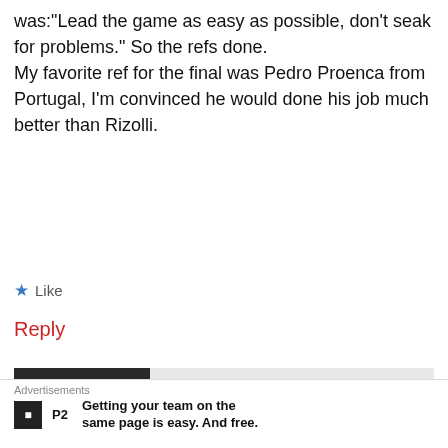was: "Lead the game as easy as possible, don't seak for problems." So the refs done. My favorite ref for the final was Pedro Proenca from Portugal, I'm convinced he would done his job much better than Rizolli.
★ Like
Reply
Jenna   August 3, 2014 1:24 pm
Which decisions exactly? It's easy to say "Oh, the referee's BIASED for the other team!!!"
Advertisements
P2  Getting your team on the same page is easy. And free.